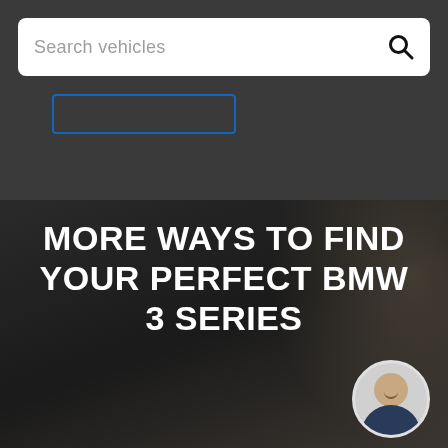Search vehicles
MORE WAYS TO FIND YOUR PERFECT BMW 3 SERIES
[Figure (photo): Circular avatar/profile photo of a smiling man in a suit, positioned in the bottom-right corner of the dark promotional banner]